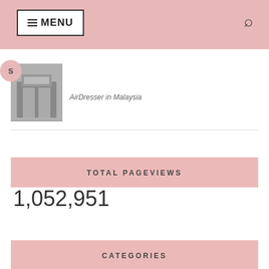≡ MENU
AirDresser in Malaysia
TOTAL PAGEVIEWS
1,052,951
CATEGORIES